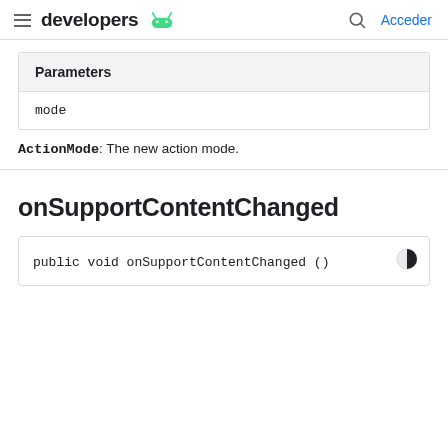developers  [Android logo]  Acceder
| Parameters |
| --- |
| mode |
ActionMode: The new action mode.
onSupportContentChanged
public void onSupportContentChanged ()